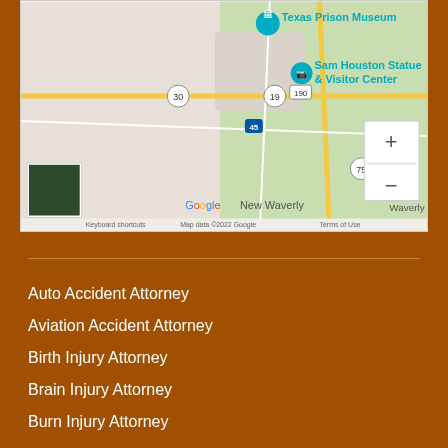[Figure (map): Google Maps screenshot showing Huntsville, Texas area with Texas Prison Museum pin, Sam Houston Statue & Visitor Center pin, roads including highways 30, 19, 190, 45, 75, and New Waverly location. Includes zoom controls (+/-), Google logo, keyboard shortcuts, Map data ©2022 Google, Terms of Use.]
Auto Accident Attorney
Aviation Accident Attorney
Birth Injury Attorney
Brain Injury Attorney
Burn Injury Attorney